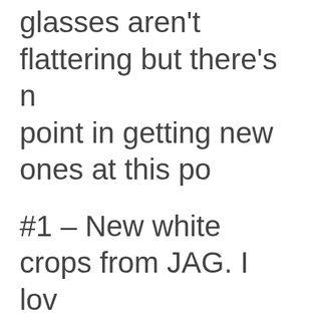glasses aren't flattering but there's no point in getting new ones at this po
#1 – New white crops from JAG. I love these pull on pants – so comfortable and I never tuck so the waistband doesn't bother me. Also new lace up sandals. I've been loving the lace up trend this spring and I don't have sandals in this color. What do you th